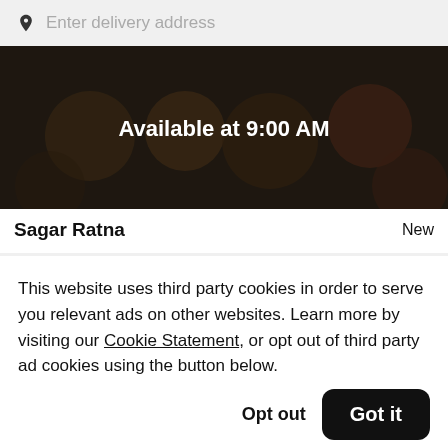Enter delivery address
[Figure (screenshot): Food delivery app hero image showing Indian dishes with dark overlay and text 'Available at 9:00 AM']
Sagar Ratna
New
This website uses third party cookies in order to serve you relevant ads on other websites. Learn more by visiting our Cookie Statement, or opt out of third party ad cookies using the button below.
Opt out
Got it